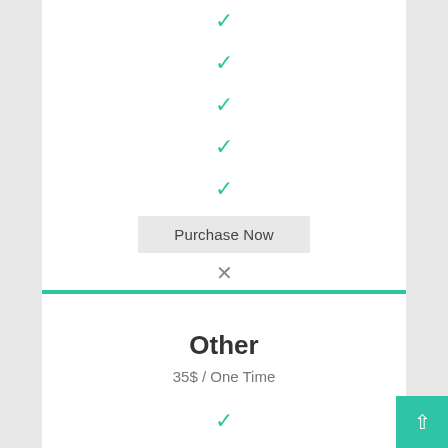✓
✓
✓
✓
✓
✗
✗
✗
Purchase Now
Other
35$ / One Time
✓
✓
✓